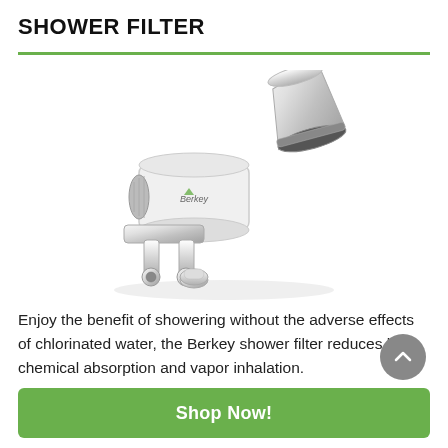SHOWER FILTER
[Figure (photo): Berkey shower filter product photo showing a chrome/silver shower filter assembly with a white cylindrical filter body and a chrome conical adapter piece, partially disassembled.]
Enjoy the benefit of showering without the adverse effects of chlorinated water, the Berkey shower filter reduces both chemical absorption and vapor inhalation.
Shop Now!